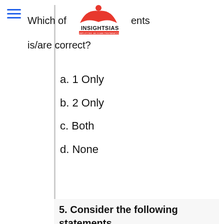[Figure (logo): INSIGHTS IAS logo with red book icon and tagline 'SIMPLIFYING IAS EXAM PREPARATION']
Which of the statements is/are correct?
a.   1  Only
b.  2  Only
c.  Both
d.  None
5. Consider the following statements
1. Individuals holding pattas under Forest Rights Act, FRA(2006) are eligible for 150 days of wage employment under MGNREGA